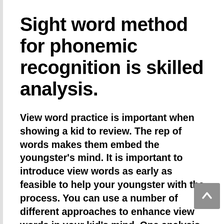Sight word method for phonemic recognition is skilled analysis.
View word practice is important when showing a kid to review. The rep of words makes them embed the youngster's mind. It is important to introduce view words as early as feasible to help your youngster with the process. You can use a number of different approaches to enhance view words in your kid's mind. One analysis procedure is to play sight word bingo with your child can help